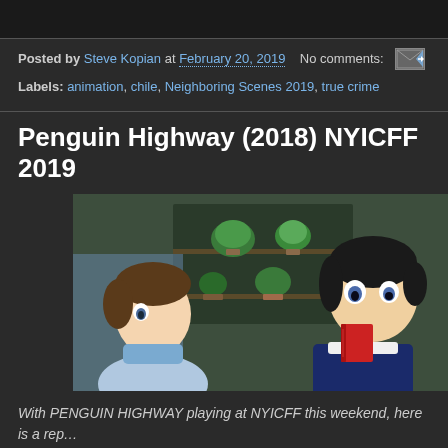Posted by Steve Kopian at February 20, 2019   No comments:
Labels: animation, chile, Neighboring Scenes 2019, true crime
Penguin Highway (2018) NYICFF 2019
[Figure (photo): Animated scene from Penguin Highway showing two anime-style child characters, one on the left partially visible, and one on the right holding a red book, with a bookshelf and plants in the background]
With PENGUIN HIGHWAY playing at NYICFF this weekend, here is a re... Fantasia last summer.
How you take PENGUIN HIGHWAY will depend upon how you take Aoya... center. A super smart kid he knows he is going to be great and he knows...